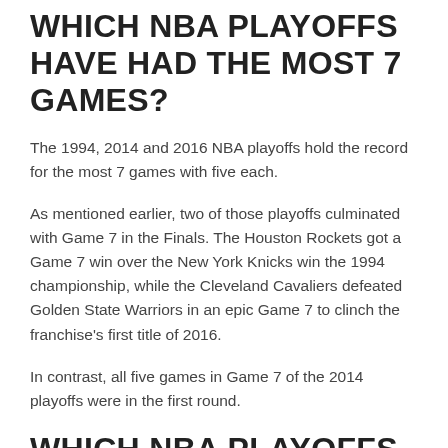WHICH NBA PLAYOFFS HAVE HAD THE MOST 7 GAMES?
The 1994, 2014 and 2016 NBA playoffs hold the record for the most 7 games with five each.
As mentioned earlier, two of those playoffs culminated with Game 7 in the Finals. The Houston Rockets got a Game 7 win over the New York Knicks win the 1994 championship, while the Cleveland Cavaliers defeated Golden State Warriors in an epic Game 7 to clinch the franchise's first title of 2016.
In contrast, all five games in Game 7 of the 2014 playoffs were in the first round.
WHICH NBA PLAYOFFS HAVE HAD THE FEWEST GAME 7S?